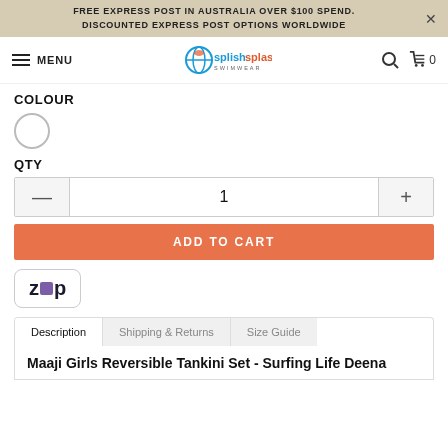FREE EXPRESS POST IN AUSTRALIA OVER $100 SPEND. DISCOUNTED EXPRESS POST OPTIONS WORLDWIDE
[Figure (logo): SplishSplash Swimwear logo with water drop icon, hamburger menu and cart icon]
COLOUR
[Figure (illustration): White colour swatch circle]
QTY
Quantity control with minus button, value 1, and plus button
ADD TO CART
[Figure (logo): Zip payment logo]
Description | Shipping & Returns | Size Guide tabs
Maaji Girls Reversible Tankini Set - Surfing Life Deena